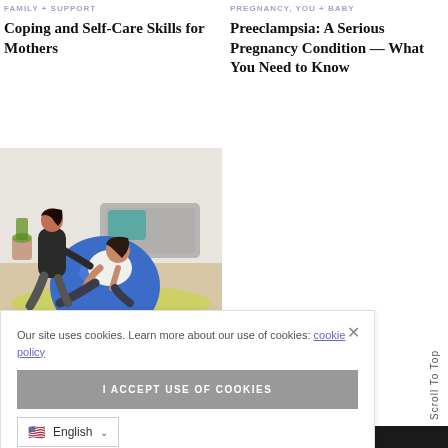FAMILY + SUPPORT
Coping and Self-Care Skills for Mothers
PREGNANCY, YOU + BABY
Preeclampsia: A Serious Pregnancy Condition — What You Need to Know
[Figure (photo): A pregnant woman kneeling on a yoga mat, leaning over a large blue exercise ball, with a healthcare professional or instructor in black clothing supporting her from behind, in a home-like setting with a couch and plants in the background.]
Our site uses cookies. Learn more about our use of cookies: cookie policy
I ACCEPT USE OF COOKIES
English